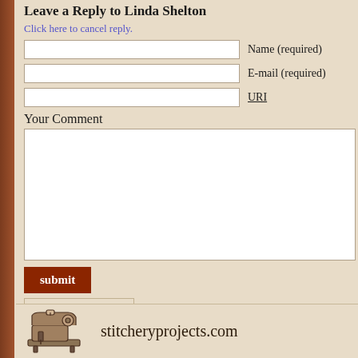Leave a Reply to Linda Shelton
Click here to cancel reply.
Name (required)
E-mail (required)
URI
Your Comment
submit
◄ Ravelry Obsession
stitcheryprojects.com